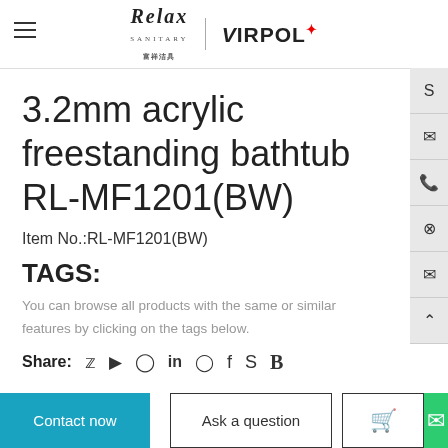Relax Sanitary | VIRPOL
3.2mm acrylic freestanding bathtub RL-MF1201(BW)
Item No.:RL-MF1201(BW)
TAGS:
You can browse all products with the same or similar features by clicking on the tags below.
Share:
Contact now | Ask a question | Cart | Chat